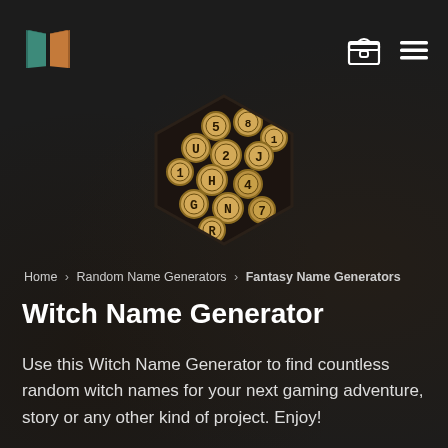Logo | Chest icon | Menu icon
[Figure (illustration): Hexagonal shaped image showing vintage typewriter keys with letters and numbers on gold/bronze colored round keycaps against a dark background]
Home > Random Name Generators > Fantasy Name Generators
Witch Name Generator
Use this Witch Name Generator to find countless random witch names for your next gaming adventure, story or any other kind of project. Enjoy!